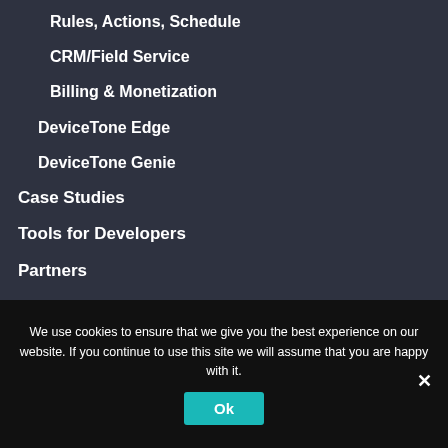Rules, Actions, Schedule
CRM/Field Service
Billing & Monetization
DeviceTone Edge
DeviceTone Genie
Case Studies
Tools for Developers
Partners
News
Book a Meeting
We use cookies to ensure that we give you the best experience on our website. If you continue to use this site we will assume that you are happy with it.
Ok